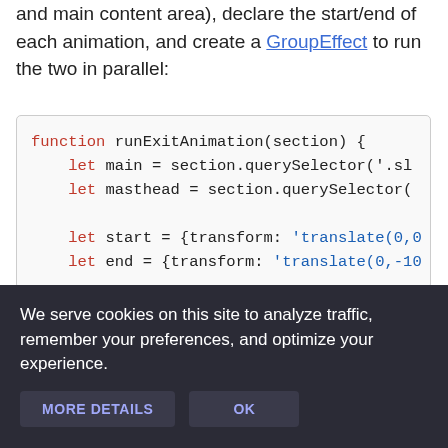and main content area), declare the start/end of each animation, and create a GroupEffect to run the two in parallel:
[Figure (screenshot): Code snippet showing a JavaScript function runExitAnimation(section) with let declarations for main, masthead, start (transform: 'translate(0,0...'), and end (transform: 'translate(0,-10...')]
We serve cookies on this site to analyze traffic, remember your preferences, and optimize your experience.
MORE DETAILS   OK